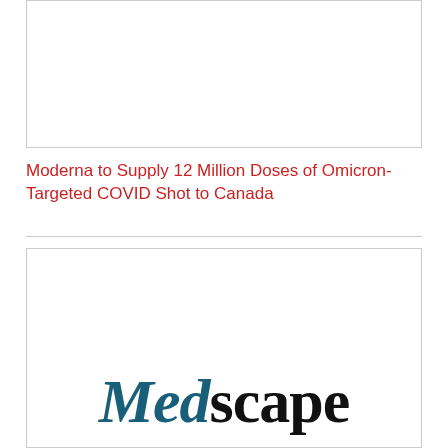[Figure (photo): Top image placeholder box, white background with border]
Moderna to Supply 12 Million Doses of Omicron-Targeted COVID Shot to Canada
[Figure (logo): Medscape logo in teal/dark serif font with italic 'Med' and upright 'scape']